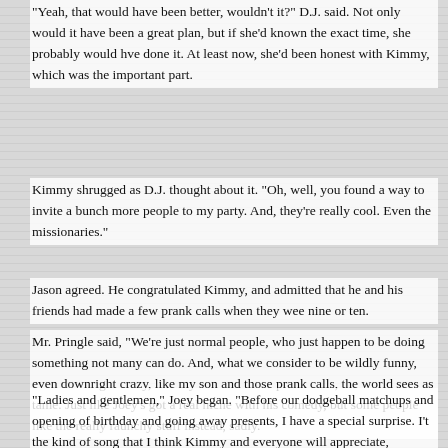"Yeah, that would have been better, wouldn't it?" D.J. said. Not only would it have been a great plan, but if she'd known the exact time, she probably would hve done it. At least now, she'd been honest with Kimmy, which was the important part.
Kimmy shrugged as D.J. thought about it. "Oh, well, you found a way to invite a bunch more people to my party. And, they're really cool. Even the missionaries."
Jason agreed. He congratulated Kimmy, and admitted that he and his friends had made a few prank calls when they wee nine or ten.
Mr. Pringle said, "We're just normal people, who just happen to be doing something not many can do. And, what we consider to be wildly funny, even downright crazy, like my son and those prank calls, the world sees as tame. Just like Joey's got a real niche with his comedy, but some people like the really raunchy stuff instead, sadly."
"Ladies and gentlemen," Joey began. "Before our dodgeball matchups and opening of birthday and going away presents, I have a special surprise. I't the kind of song that I think Kimmy and everyone will appreciate, because we can laugh. Come on up, Danny and Jesse."